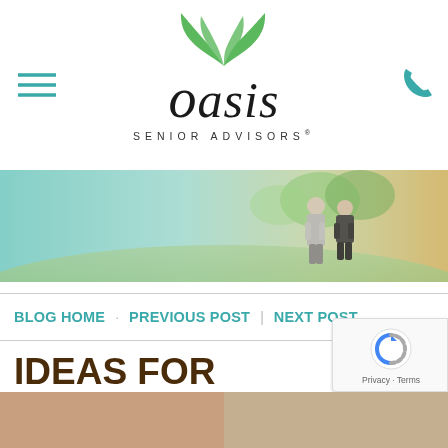[Figure (logo): Oasis Senior Advisors logo with green palm frond icon above the italic text 'oasis' in dark serif font, and 'SENIOR ADVISORS' in spaced sans-serif below]
[Figure (photo): Banner photo of two elderly people walking together in a sunlit park or garden setting, viewed from behind]
BLOG HOME · PREVIOUS POST | NEXT POST
IDEAS FOR SKILLED NURSING ACTIVITIES
[Figure (other): Google reCAPTCHA badge with recaptcha icon and 'Privacy · Terms' text]
[Figure (photo): Bottom strip showing partial images at bottom of page]